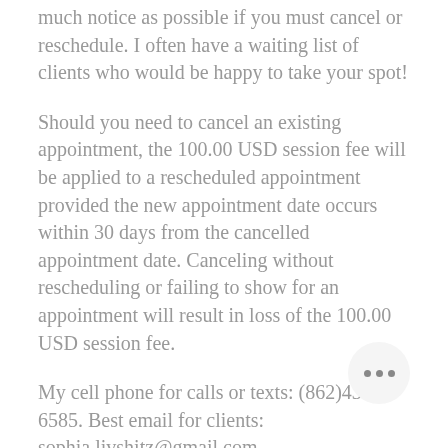much notice as possible if you must cancel or reschedule. I often have a waiting list of clients who would be happy to take your spot!
Should you need to cancel an existing appointment, the 100.00 USD session fee will be applied to a rescheduled appointment provided the new appointment date occurs within 30 days from the cancelled appointment date. Canceling without rescheduling or failing to show for an appointment will result in loss of the 100.00 USD session fee.
My cell phone for calls or texts: (862)432-6585. Best email for clients: sophia.livshitz@gmail.com
Channeling sessions are powerful,